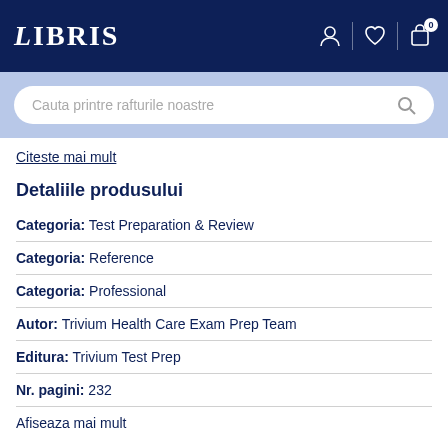LIBRIS
Cauta printre rafturile noastre
Citeste mai mult
Detaliile produsului
Categoria: Test Preparation & Review
Categoria: Reference
Categoria: Professional
Autor: Trivium Health Care Exam Prep Team
Editura: Trivium Test Prep
Nr. pagini: 232
Afiseaza mai mult